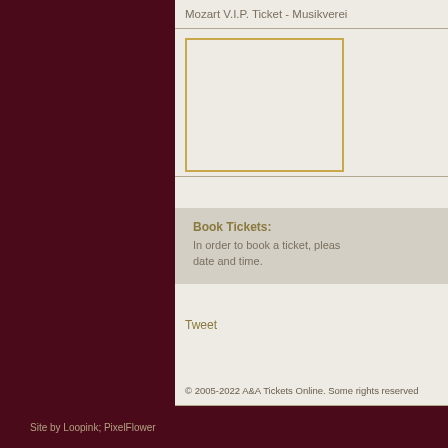Mozart V.I.P. Ticket - Musikverei
[Figure (other): Ticket image placeholder box with gold border]
Book Tickets: In order to book a ticket, please select a date and time.
Tweet
© 2005-2022 A&A Tickets Online. Some rights reserved
Site by Loopink; PixelFlower